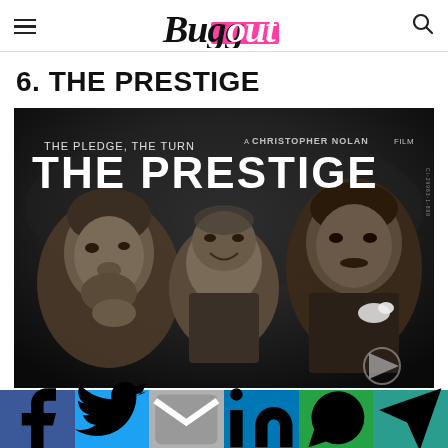Buggout
6. THE PRESTIGE
[Figure (photo): Movie poster for The Prestige by Christopher Nolan, showing three men in a dark monochromatic style with the text 'THE PLEDGE, THE TURN' and 'A CHRISTOPHER NOLAN FILM' and 'THE PRESTIGE']
Social sharing bar with Facebook, Twitter, Gmail, LinkedIn, WhatsApp, Telegram buttons